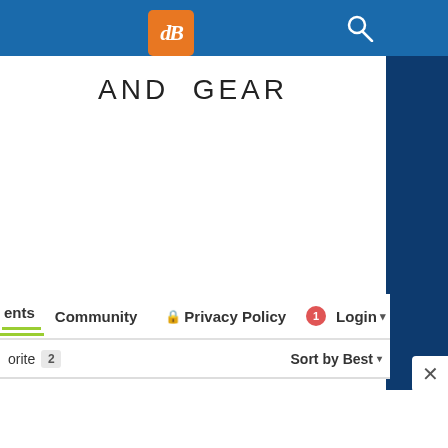[Figure (logo): dPS logo: orange rounded square with white italic 'dB' letters, on a blue navigation header bar with a white search (magnifying glass) icon on the right]
AND GEAR
ents  Community  🔒 Privacy Policy  🔴1  Login ▾
orite 2   Sort by Best ▾